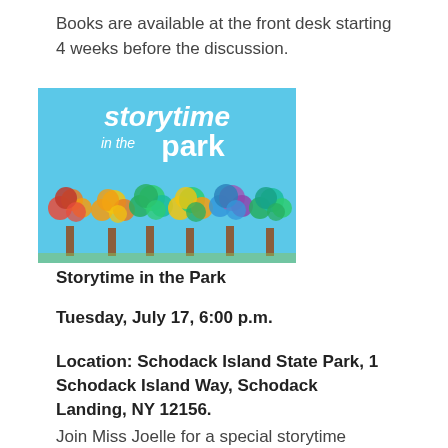Books are available at the front desk starting 4 weeks before the discussion.
[Figure (illustration): Colorful illustrated banner reading 'storytime in the park' with rainbow-colored trees made of circles against a light blue sky background.]
Storytime in the Park
Tuesday, July 17, 6:00 p.m.
Location: Schodack Island State Park, 1 Schodack Island Way, Schodack Landing, NY 12156.
Join Miss Joelle for a special storytime